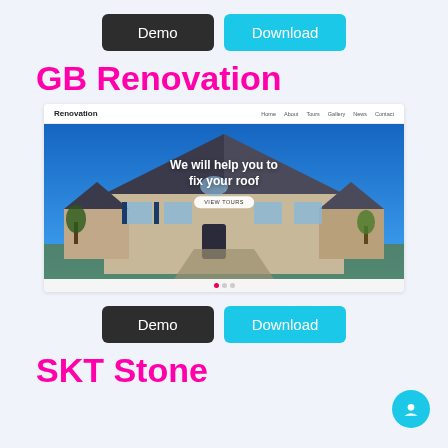[Figure (screenshot): Two buttons: Demo (dark) and Download (cyan) at top]
GB Renovation
[Figure (screenshot): Screenshot of GB Renovation website showing a house with the text 'We will help you to fix your roof' and navigation bar]
[Figure (screenshot): Two buttons: Demo (dark) and Download (cyan) below screenshot]
SKT Stone